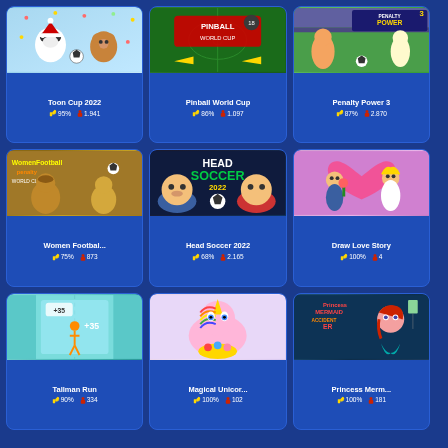[Figure (screenshot): Game card: Toon Cup 2022, cartoon animals playing soccer, light blue background]
[Figure (screenshot): Game card: Pinball World Cup, pinball on green soccer field]
[Figure (screenshot): Game card: Penalty Power 3, soccer penalty game with stadium]
[Figure (screenshot): Game card: Women Football Penalty World Cup, cartoon female soccer players]
[Figure (screenshot): Game card: Head Soccer 2022, big-head soccer characters]
[Figure (screenshot): Game card: Draw Love Story, cartoon couple with heart background]
[Figure (screenshot): Game card: Tallman Run, stick figure running on track]
[Figure (screenshot): Game card: Magical Unicorn, colorful unicorn character]
[Figure (screenshot): Game card: Princess Mermaid ER, mermaid princess hospital game]